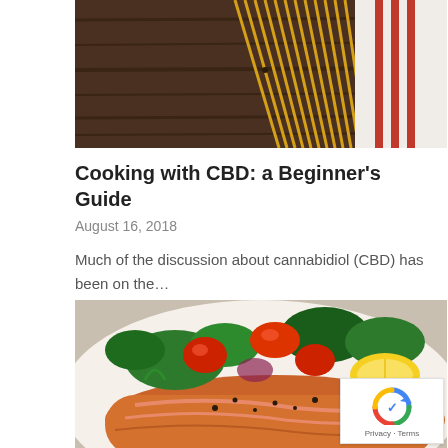[Figure (photo): Top portion of a photo showing pasta/spaghetti on a dark wooden surface with a striped cloth napkin]
Cooking with CBD: a Beginner's Guide
August 16, 2018
Much of the discussion about cannabidiol (CBD) has been on the…
[Figure (photo): Close-up photo of a grilled salmon fillet on a plate with fresh salad including tomatoes, leafy greens, and a lemon wedge]